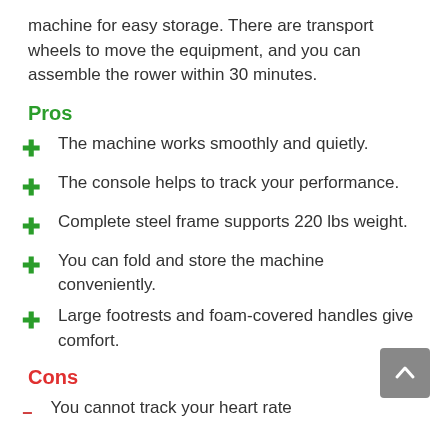machine for easy storage. There are transport wheels to move the equipment, and you can assemble the rower within 30 minutes.
Pros
The machine works smoothly and quietly.
The console helps to track your performance.
Complete steel frame supports 220 lbs weight.
You can fold and store the machine conveniently.
Large footrests and foam-covered handles give comfort.
Cons
You cannot track your heart rate